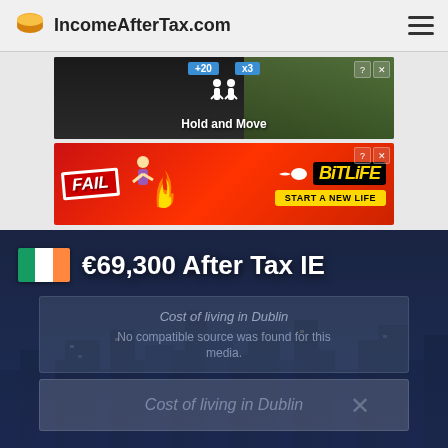IncomeAfterTax.com
[Figure (photo): Advertisement banner 1 - dark game ad with 'Hold and Move' text and two figures]
[Figure (photo): BitLife advertisement - 'FAIL START A NEW LIFE' promotional banner with red background]
€69,300 After Tax IE
[Figure (other): Video embed placeholder showing 'Cost of living in Dublin' with 'No compatible source was found for this media.' error message and a second video placeholder below with 'Cost of living in Dublin' text]